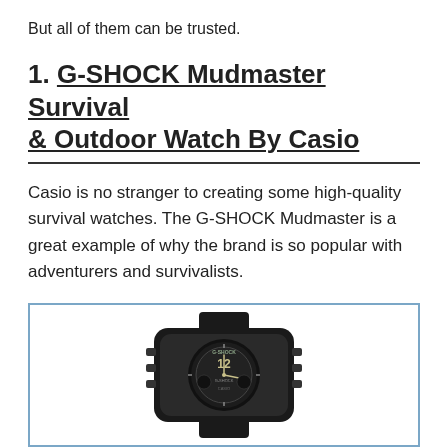But all of them can be trusted.
1. G-SHOCK Mudmaster Survival & Outdoor Watch By Casio
Casio is no stranger to creating some high-quality survival watches. The G-SHOCK Mudmaster is a great example of why the brand is so popular with adventurers and survivalists.
[Figure (photo): G-SHOCK Mudmaster watch displayed in a blue-bordered box, showing a black rugged watch face with the number 12 prominently displayed and G-SHOCK branding.]